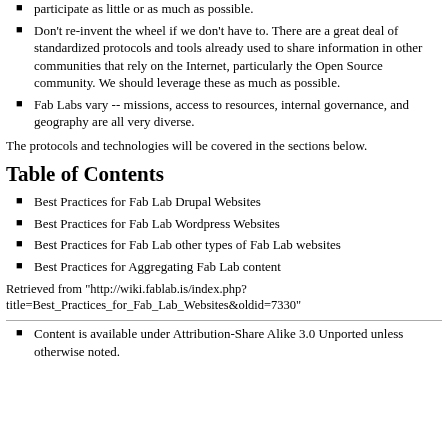participate as little or as much as possible.
Don't re-invent the wheel if we don't have to. There are a great deal of standardized protocols and tools already used to share information in other communities that rely on the Internet, particularly the Open Source community. We should leverage these as much as possible.
Fab Labs vary -- missions, access to resources, internal governance, and geography are all very diverse.
The protocols and technologies will be covered in the sections below.
Table of Contents
Best Practices for Fab Lab Drupal Websites
Best Practices for Fab Lab Wordpress Websites
Best Practices for Fab Lab other types of Fab Lab websites
Best Practices for Aggregating Fab Lab content
Retrieved from "http://wiki.fablab.is/index.php?title=Best_Practices_for_Fab_Lab_Websites&oldid=7330"
Content is available under Attribution-Share Alike 3.0 Unported unless otherwise noted.